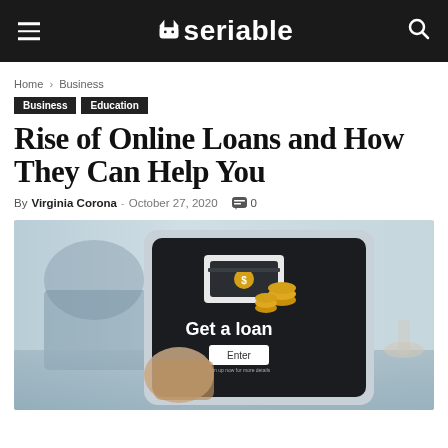seriable
Home › Business
Business
Education
Rise of Online Loans and How They Can Help You
By Virginia Corona - October 27, 2020  0
[Figure (photo): Person holding a tablet showing 'Get a loan' screen with money and coins icons and an Enter button, with a person writing in the background]